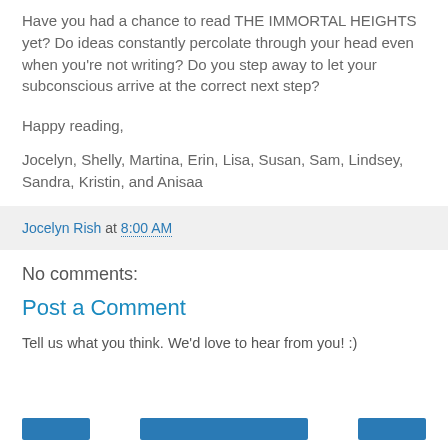Have you had a chance to read THE IMMORTAL HEIGHTS yet? Do ideas constantly percolate through your head even when you're not writing? Do you step away to let your subconscious arrive at the correct next step?
Happy reading,
Jocelyn, Shelly, Martina, Erin, Lisa, Susan, Sam, Lindsey, Sandra, Kristin, and Anisaa
Jocelyn Rish at 8:00 AM
No comments:
Post a Comment
Tell us what you think. We'd love to hear from you! :)